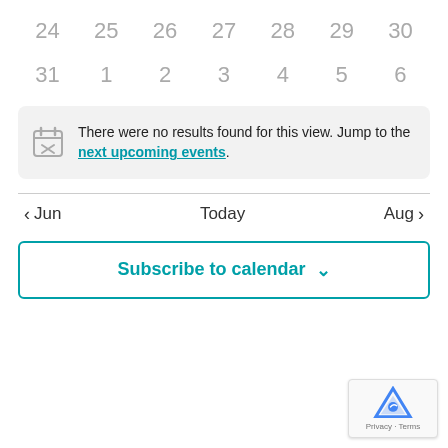24  25  26  27  28  29  30
31  1  2  3  4  5  6
There were no results found for this view. Jump to the next upcoming events.
< Jun    Today    Aug >
Subscribe to calendar  ∨